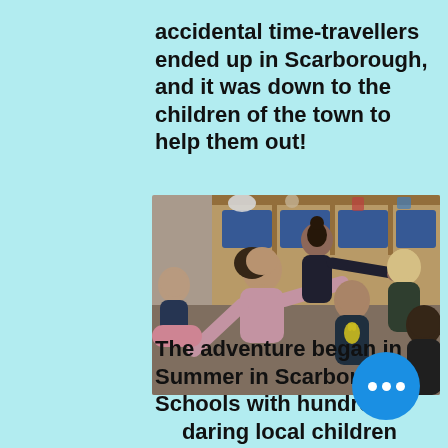accidental time-travellers ended up in Scarborough, and it was down to the children of the town to help them out!
[Figure (photo): A group of young children in a classroom, one girl in a pink top pointing with arms outstretched, others looking on excitedly. Colourful storage bins visible in the background.]
The adventure began in Summer in Scarborough Schools with hundreds of daring local children aged 6+ being recruited into a secret society to help